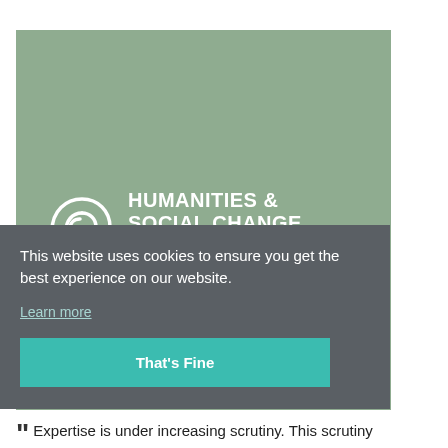[Figure (logo): Humanities & Social Change Centre at the University of Cambridge logo on sage green background with white spiral/swirl emblem and white text]
This website uses cookies to ensure you get the best experience on our website.
Learn more
That's Fine
“ Expertise is under increasing scrutiny. This scrutiny